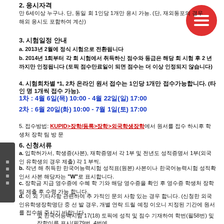2. 응시자격
만 6세이상 누구나. 단, 동일 회 1인당 1개만 응시 가능. (단, 재외동포의 경우 해외 응시도 포함하여 계산)
3. 시험일정 안내
a. 2013년 2월에 정식 시험으로 전환됩니다
b. 2014년 1회부터 각 회 시험에서 취득하신 점수와 등급은 해당 회 시험 후 2 년까지만 인정됩니다 (토픽 점수만료일이 되면 점수는 더 이상 인정되지 않습니다)
4. 시험회차별 *1, 2차 온라인 원서 접수는 1인당 1개만 접수가능합니다. (타인 명 1개씩 접수 가능).
1차 : 4월 6일(목) 10:00 - 4월 22일(일) 17:00
2차 : 6월 20일(화) 10:00 - 7월 1일(토) 17:00
5. 접수방법: KUPID>장학/등록>장학>외국학생장학에서 원서를 접수 하시후 학생처 장학 팀 방 문
6. 신청서류
a. 입학허가서, 학생증(사본), 재학증명서 각 1부 및 전년도 성적증명서 1부(외국인 유학생의 경우 제출) 각 1 부씩.
b. 작년 해 취득한 한국어능력시험 성적표(원본) 사본이나 한국어능력시험 성적확인서 사본 해당자는 "W"로 표시합니다.
c. 장학금 지급 영수증에 수혜 학 기와 해당 영수증을 확인 후 영수증 학생처 장학팀 제출 후 수령 가능 합니다.
d. 이 외 기타사항 관련하여 추 가적인 문의 사항 있는 경우 합니다. (신청한 외국인유학생장학명단 중 선 발 경우, 개별 연락 드릴 예정 이오니 지정된 기간에 원서를 접수해 주시기 바랍니다.
및 한국어능력시험 17(18) 토픽에 성적 및 점수 기재하여 학번(필58번) 및 장학이름 표시(필79번, 4번에